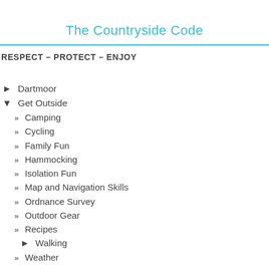The Countryside Code
RESPECT – PROTECT – ENJOY
► Dartmoor
▼ Get Outside
» Camping
» Cycling
» Family Fun
» Hammocking
» Isolation Fun
» Map and Navigation Skills
» Ordnance Survey
» Outdoor Gear
» Recipes
► Walking
» Weather